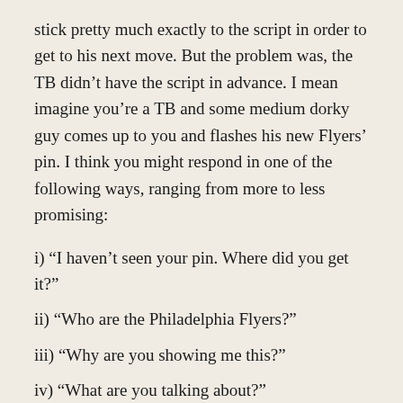stick pretty much exactly to the script in order to get to his next move. But the problem was, the TB didn't have the script in advance. I mean imagine you're a TB and some medium dorky guy comes up to you and flashes his new Flyers' pin. I think you might respond in one of the following ways, ranging from more to less promising:
i) “I haven’t seen your pin. Where did you get it?”
ii) “Who are the Philadelphia Flyers?”
iii) “Why are you showing me this?”
iv) “What are you talking about?”